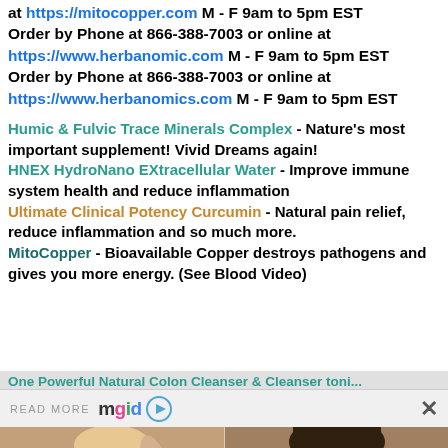at https://mitocopper.com M - F 9am to 5pm EST Order by Phone at 866-388-7003 or online at https://www.herbanomic.com M - F 9am to 5pm EST Order by Phone at 866-388-7003 or online at https://www.herbanomics.com M - F 9am to 5pm EST
Humic & Fulvic Trace Minerals Complex - Nature's most important supplement! Vivid Dreams again! HNEX HydroNano EXtracellular Water - Improve immune system health and reduce inflammation Ultimate Clinical Potency Curcumin - Natural pain relief, reduce inflammation and so much more. MitoCopper - Bioavailable Copper destroys pathogens and gives you more energy. (See Blood Video)
[Figure (screenshot): READ MORE mgid logo with play button and close X button - content recommendation widget bar]
[Figure (photo): Photo of a woman posing - Body-positive Influencers Who Celebrate Self-love In All Shapes]
Body-positive Influencers Who Celebrate Self-love In All Shapes
[Figure (photo): Photo of an Asian woman - 10 Extremely Gorgeous Asian Actresses]
10 Extremely Gorgeous Asian Actresses